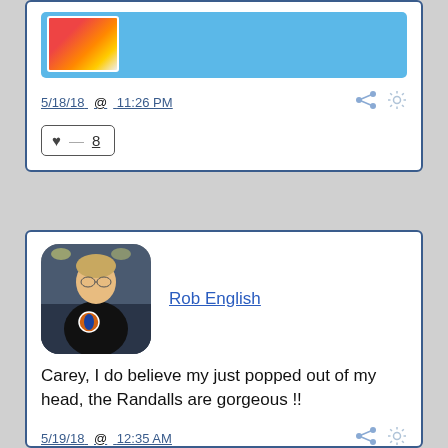[Figure (screenshot): Top post card partial view with blue banner and thumbnail image]
5/18/18 @ 11:26 PM
♥ 8
[Figure (photo): Profile photo of Rob English, a man in a black t-shirt with a logo, in a gym setting]
Rob English
Carey, I do believe my just popped out of my head, the Randalls are gorgeous !!
5/19/18 @ 12:35 AM
♥ 0